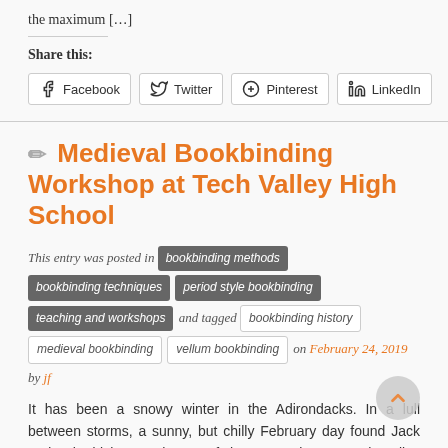the maximum […]
Share this:
Facebook  Twitter  Pinterest  LinkedIn
✏ Medieval Bookbinding Workshop at Tech Valley High School
This entry was posted in bookbinding methods bookbinding techniques period style bookbinding teaching and workshops and tagged bookbinding history medieval bookbinding vellum bookbinding on February 24, 2019 by jf
It has been a snowy winter in the Adirondacks. In a lull between storms, a sunny, but chilly February day found Jack and Tah driving south, out of the mountains, to Tech Valley High School located on the SUNY Polytechnic Institute Campus in Albany. Here, Made S...